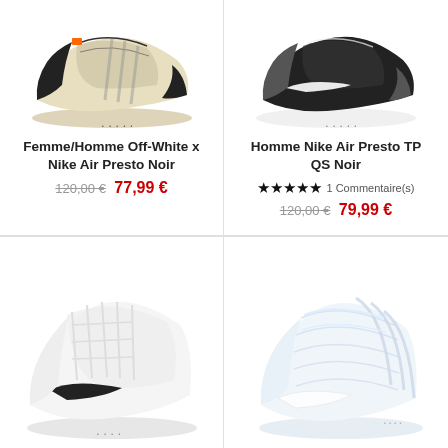[Figure (photo): Nike Off-White x Air Presto sneaker in beige/black, partially shown from above]
[Figure (photo): Nike Air Presto TP QS sneaker in black/white, partially shown from above]
Femme/Homme Off-White x Nike Air Presto Noir
Homme Nike Air Presto TP QS Noir
120,00 € 77,99 €
★★★★★ 1 Commentaire(s)
120,00 € 79,99 €
[Figure (photo): Nike Air Presto white sneaker with black swoosh, side view]
[Figure (photo): Nike Air Presto TP white sneaker, side view]
Homme Nike Air Presto Blanc
Homme Nike Air Presto TP...